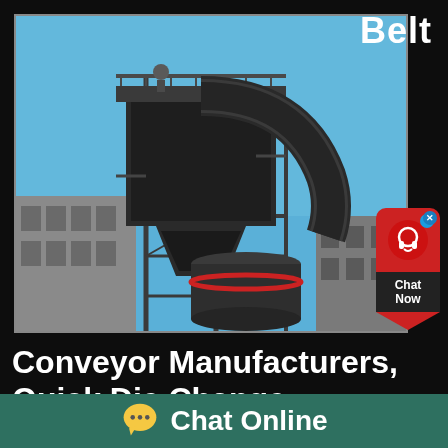[Figure (photo): Industrial conveyor/mill equipment photograph showing a large dark metal hopper/cyclone structure with pipes and a cone crusher below, set against a blue sky with industrial buildings in background]
Belt
Conveyor Manufacturers, Quick Die Change Equipment
For over 121 years, Wardcraft Conveyor has provided
[Figure (illustration): Chat Now widget button with red background, headset icon, and arrow pointing down with Chat Now text]
[Figure (illustration): Chat Online footer bar with yellow speech bubble icon and white Chat Online text on teal/green background]